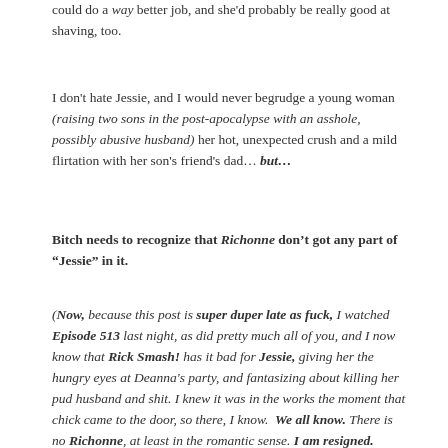could do a way better job, and she'd probably be really good at shaving, too.
I don't hate Jessie, and I would never begrudge a young woman (raising two sons in the post-apocalypse with an asshole, possibly abusive husband) her hot, unexpected crush and a mild flirtation with her son’s friend’s dad… but…
Bitch needs to recognize that Richonne don’t got any part of “Jessie” in it.
(Now, because this post is super duper late as fuck, I watched Episode 513 last night, as did pretty much all of you, and I now know that Rick Smash! has it bad for Jessie, giving her the hungry eyes at Deanna's party, and fantasizing about killing her pud husband and shit. I knew it was in the works the moment that chick came to the door, so there, I know.  We all know. There is no Richonne, at least in the romantic sense. I am resigned. Annoyed as hell, but resigned. I'll get over it. Meh.)